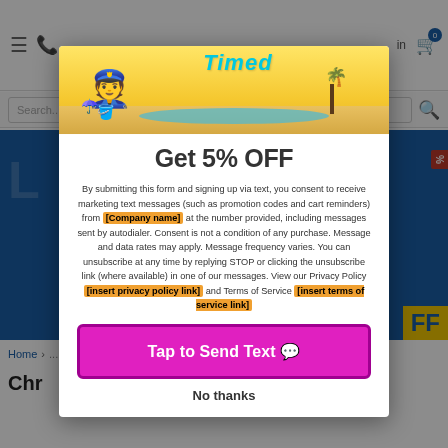Website header with navigation and search bar
[Figure (screenshot): Modal popup overlay on an e-commerce website. The modal shows a summer-themed promotional banner at the top with a cartoon lifeguard character and the text 'Stay Tuned' in stylized lettering.]
Get 5% OFF
By submitting this form and signing up via text, you consent to receive marketing text messages (such as promotion codes and cart reminders) from [Company name] at the number provided, including messages sent by autodialer. Consent is not a condition of any purchase. Message and data rates may apply. Message frequency varies. You can unsubscribe at any time by replying STOP or clicking the unsubscribe link (where available) in one of our messages. View our Privacy Policy [insert privacy policy link] and Terms of Service [insert terms of service link]
Tap to Send Text 💬
No thanks